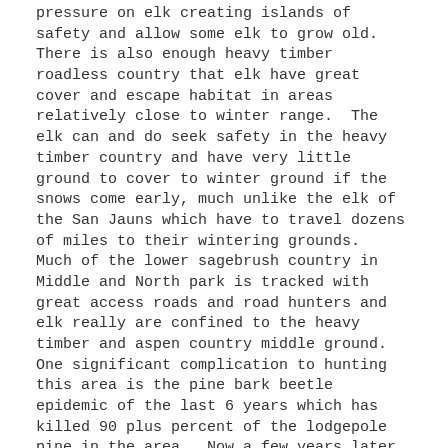pressure on elk creating islands of safety and allow some elk to grow old.  There is also enough heavy timber roadless country that elk have great cover and escape habitat in areas relatively close to winter range.  The elk can and do seek safety in the heavy timber country and have very little ground to cover to winter ground if the snows come early, much unlike the elk of the San Jauns which have to travel dozens of miles to their wintering grounds.  Much of the lower sagebrush country in Middle and North park is tracked with great access roads and road hunters and elk really are confined to the heavy timber and aspen country middle ground.  One significant complication to hunting this area is the pine bark beetle epidemic of the last 6 years which has killed 90 plus percent of the lodgepole pine in the area.  Now a few years later these dead trees' roots are rotting and the millions of dead lodgepoles are falling down and littering the mountains and forests.  Some places are very difficult if not impossible to navigate due to the incredible tangles of deadfall. Units 6, 16, 17, 18, 27, 28, 37, 161, 171, 181, 371 make up the OTC units of Middle and North Park. The Central Mountains of Colorado are synonymous with the ski towns of Vail, Aspen and Crested